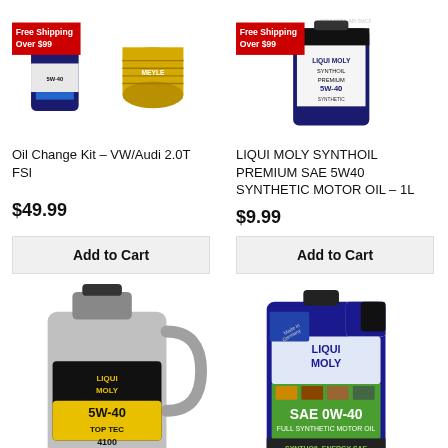[Figure (illustration): Oil change kit product image with filter and oil bottle, with Free Shipping Over $99 badge]
[Figure (illustration): Liqui Moly Synthoil Premium 5W40 1L bottle, with Free Shipping Over $99 badge]
Oil Change Kit – VW/Audi 2.0T FSI
$49.99
Add to Cart
LIQUI MOLY SYNTHOIL PREMIUM SAE 5W40 SYNTHETIC MOTOR OIL – 1L
$9.99
Add to Cart
[Figure (illustration): Liqui Moly 5W-40 Top Tec 4100 5L jug, silver container with yellow/black label]
[Figure (illustration): Liqui Moly SAE 0W-40 Synthoil Energy motor oil bottle, blue container]